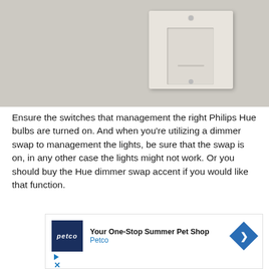[Figure (photo): Close-up photo of a white rocker light switch on a textured white/grey wall]
Ensure the switches that management the right Philips Hue bulbs are turned on. And when you’re utilizing a dimmer swap to management the lights, be sure that the swap is on, in any other case the lights might not work. Or you should buy the Hue dimmer swap accent if you would like that function.
[Figure (other): Petco advertisement: Your One-Stop Summer Pet Shop - Petco, with blue diamond arrow icon]